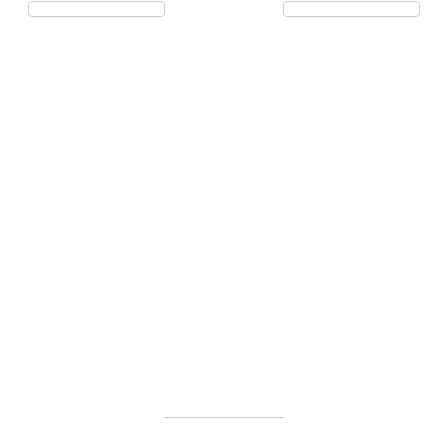[Figure (infographic): Category badge list showing: ELECTRONICS 653, HEALTH AND BEAUTY 533, KINDLE EDITION 189, KITCHEN 453, MISC. 2946, PAPERBACK 295, SPORTS 3100, TOOLS & HOME IMPROVEMENT 535, TOY 353, UNKNOWN BINDING 481]
—